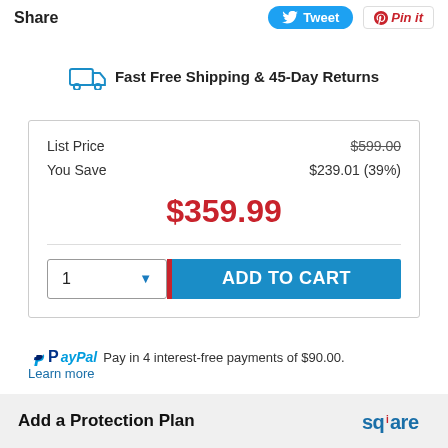[Figure (screenshot): Share bar with Tweet and Pin it buttons at top of page]
Fast Free Shipping & 45-Day Returns
List Price  $599.00
You Save  $239.01 (39%)
$359.99
[Figure (screenshot): Quantity selector with '1' and dropdown arrow, red divider, and ADD TO CART button in teal]
PayPal Pay in 4 interest-free payments of $90.00. Learn more
Add a Protection Plan